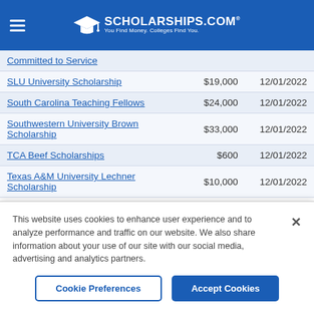SCHOLARSHIPS.COM® — You Find Money. Colleges Find You.
| Scholarship | Amount | Deadline |
| --- | --- | --- |
| Committed to Service |  |  |
| SLU University Scholarship | $19,000 | 12/01/2022 |
| South Carolina Teaching Fellows | $24,000 | 12/01/2022 |
| Southwestern University Brown Scholarship | $33,000 | 12/01/2022 |
| TCA Beef Scholarships | $600 | 12/01/2022 |
| Texas A&M University Lechner Scholarship | $10,000 | 12/01/2022 |
This website uses cookies to enhance user experience and to analyze performance and traffic on our website. We also share information about your use of our site with our social media, advertising and analytics partners.
Cookie Preferences | Accept Cookies